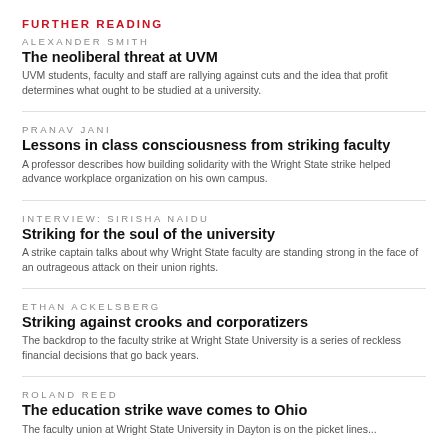FURTHER READING
ALEXANDER SMITH
The neoliberal threat at UVM
UVM students, faculty and staff are rallying against cuts and the idea that profit determines what ought to be studied at a university.
PRANAV JANI
Lessons in class consciousness from striking faculty
A professor describes how building solidarity with the Wright State strike helped advance workplace organization on his own campus.
INTERVIEW: SIRISHA NAIDU
Striking for the soul of the university
A strike captain talks about why Wright State faculty are standing strong in the face of an outrageous attack on their union rights.
ETHAN ACKELSBERG
Striking against crooks and corporatizers
The backdrop to the faculty strike at Wright State University is a series of reckless financial decisions that go back years.
ROLAND REED
The education strike wave comes to Ohio
The faculty union at Wright State University in Dayton is on the picket lines...